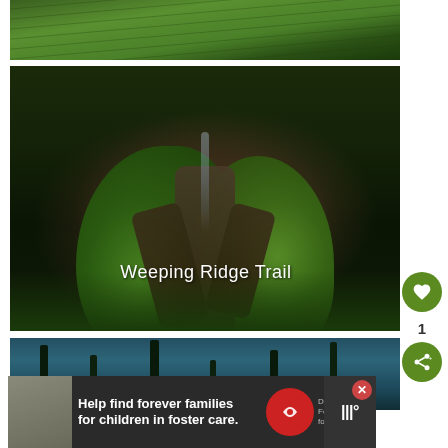[Figure (photo): Partial top image of lush green forest or tall grass, heavily saturated green tones]
[Figure (photo): Weeping Ridge Trail — forest scene with mossy dead tree trunks in center, surrounded by lush green foliage and ferns, with text overlay reading 'Weeping Ridge Trail']
[Figure (photo): Bottom partial image of tall pine trees silhouetted against blue-grey sky]
Help find forever families for children in foster care.
Dave Thomas Foundation for Adoption